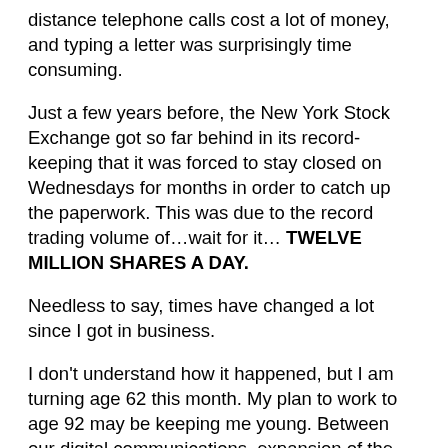distance telephone calls cost a lot of money, and typing a letter was surprisingly time consuming.
Just a few years before, the New York Stock Exchange got so far behind in its record-keeping that it was forced to stay closed on Wednesdays for months in order to catch up the paperwork. This was due to the record trading volume of…wait for it… TWELVE MILLION SHARES A DAY.
Needless to say, times have changed a lot since I got in business.
I don't understand how it happened, but I am turning age 62 this month. My plan to work to age 92 may be keeping me young. Between our digital communications, expansion of the team, reworking our systems and processes, keeping up with economic and market developments, and